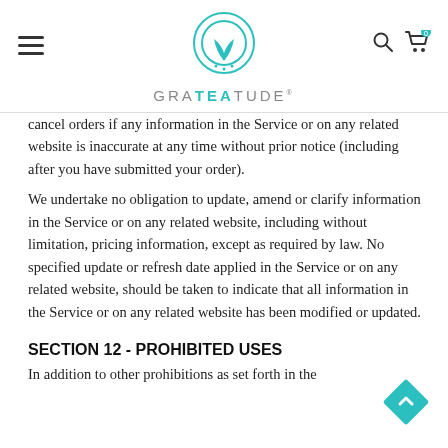GRATEАТUDE
cancel orders if any information in the Service or on any related website is inaccurate at any time without prior notice (including after you have submitted your order).
We undertake no obligation to update, amend or clarify information in the Service or on any related website, including without limitation, pricing information, except as required by law. No specified update or refresh date applied in the Service or on any related website, should be taken to indicate that all information in the Service or on any related website has been modified or updated.
SECTION 12 - PROHIBITED USES
In addition to other prohibitions as set forth in the